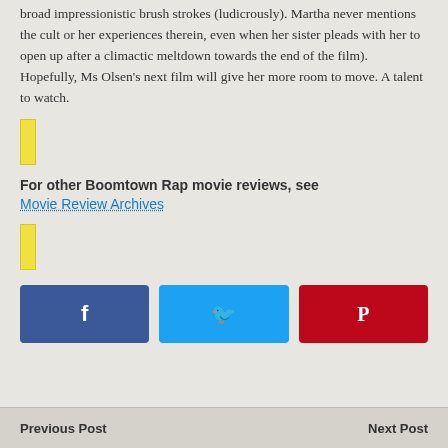broad impressionistic brush strokes (ludicrously). Martha never mentions the cult or her experiences therein, even when her sister pleads with her to open up after a climactic meltdown towards the end of the film). Hopefully, Ms Olsen's next film will give her more room to move. A talent to watch.
[Figure (other): Yellow vertical bar decorative element]
For other Boomtown Rap movie reviews, see
Movie Review Archives
[Figure (other): Yellow vertical bar decorative element]
[Figure (infographic): Three social sharing buttons: Facebook (blue), Twitter (light blue), Pinterest (red) with respective icons f, bird, p]
Previous Post    Next Post